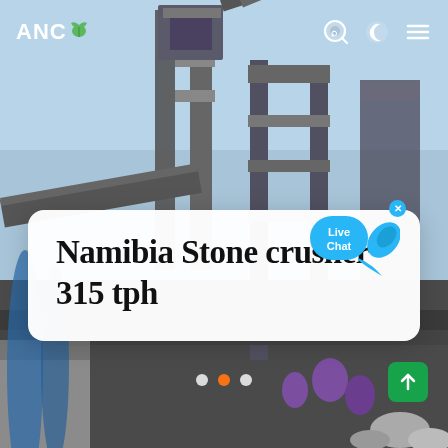[Figure (photo): Industrial stone crusher equipment — steel frame structure with conveyors, hoppers, and mechanical components photographed on a construction/mining site with blue sky background.]
ANC (logo with leaf icon) — navigation bar with search, dark mode, and menu icons
Namibia Stone crusher 315 tph
Live Chat (bubble overlay)
Slide indicators: dot 1, dot 2 (active/orange), dot 3